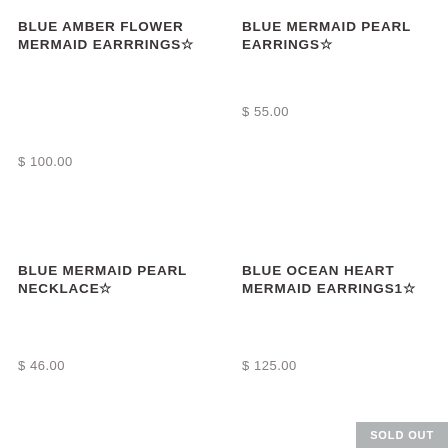BLUE AMBER FLOWER MERMAID EARRRINGS☆
$ 100.00
BLUE MERMAID PEARL EARRINGS☆
$ 55.00
BLUE MERMAID PEARL NECKLACE☆
$ 46.00
BLUE OCEAN HEART MERMAID EARRINGS1☆
$ 125.00
SOLD OUT